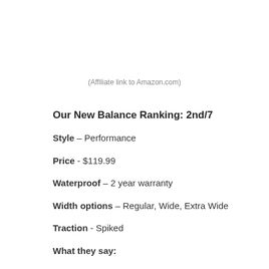(Affiliate link to Amazon.com)
Our New Balance Ranking: 2nd/7
Style – Performance
Price - $119.99
Waterproof – 2 year warranty
Width options – Regular, Wide, Extra Wide
Traction - Spiked
What they say: